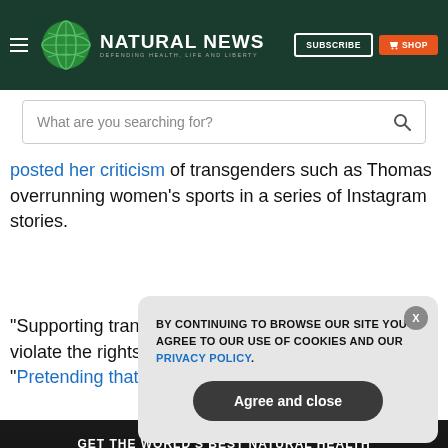NATURAL NEWS — DEFENDING HEALTH, LIFE AND LIBERTY | SUBSCRIBE | SHOP
What are you searching for?
posted her criticism of transgenders such as Thomas overrunning women's sports in a series of Instagram stories.
"Supporting trans freedom does not mean it's OK to violate the rights of biological women," she said. "Pretending that
GET THE WORLD'S BEST NATURAL HEALTH NEWSLETTER DELIVERED STRAIGHT TO YOUR INBOX
Enter Your Email Address
BY CONTINUING TO BROWSE OUR SITE YOU AGREE TO OUR USE OF COOKIES AND OUR PRIVACY POLICY.
Agree and close